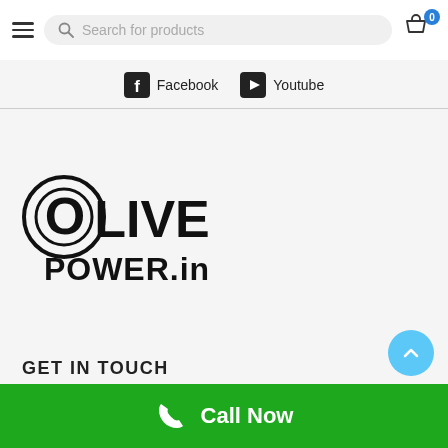Search for products | Cart 0
Facebook  Youtube
[Figure (logo): OlivePower.in logo — bold black text OLIVE with a target/bullseye circle around the O, and POWER.in below]
GET IN TOUCH
Call Now